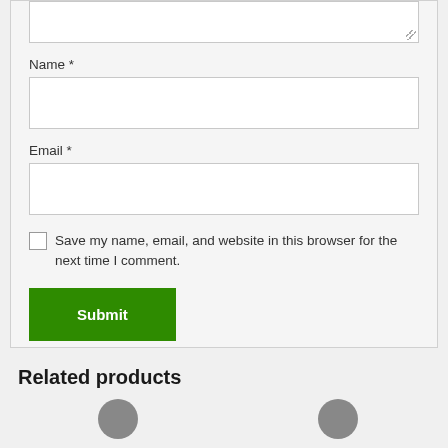Name *
Email *
Save my name, email, and website in this browser for the next time I comment.
Submit
Related products